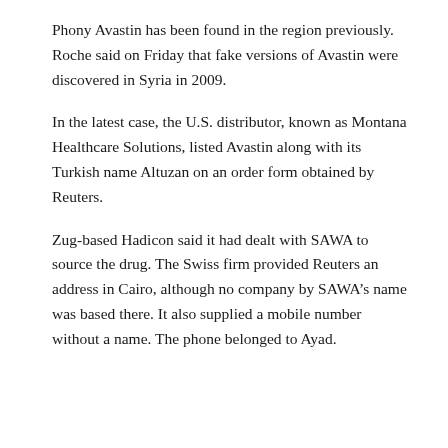Phony Avastin has been found in the region previously. Roche said on Friday that fake versions of Avastin were discovered in Syria in 2009.
In the latest case, the U.S. distributor, known as Montana Healthcare Solutions, listed Avastin along with its Turkish name Altuzan on an order form obtained by Reuters.
Zug-based Hadicon said it had dealt with SAWA to source the drug. The Swiss firm provided Reuters an address in Cairo, although no company by SAWA’s name was based there. It also supplied a mobile number without a name. The phone belonged to Ayad.